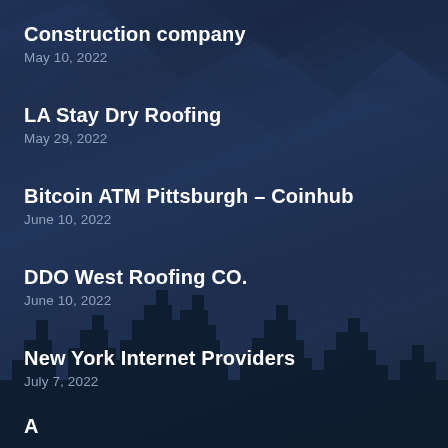Construction company
May 10, 2022
LA Stay Dry Roofing
May 29, 2022
Bitcoin ATM Pittsburgh – Coinhub
June 10, 2022
DDO West Roofing CO.
June 10, 2022
New York Internet Providers
July 7, 2022
A... (partially visible)